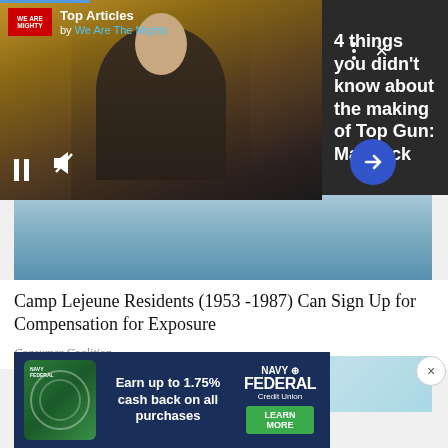[Figure (screenshot): Video player overlay showing Top Articles by We Are The Mighty, with a video still of a person in military gear, pause and mute controls, and an arrow navigation button]
Top Articles
by We Are The Mighty
4 things you didn't know about the making of Top Gun: Maverick
[Figure (photo): Partial article image showing snowy or icy blue tones]
Camp Lejeune Residents (1953 -1987) Can Sign Up for Compensation for Exposure
Consumer Coalition
[Figure (photo): Close-up of human eyes with blue/teal coloring]
[Figure (screenshot): Navy Federal Credit Union advertisement: Earn up to 1.75% cash back on all purchases, with green credit card graphic and Learn More button]